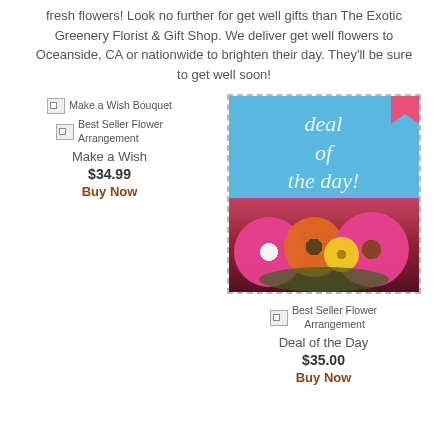fresh flowers! Look no further for get well gifts than The Exotic Greenery Florist & Gift Shop. We deliver get well flowers to Oceanside, CA or nationwide to brighten their day. They'll be sure to get well soon!
[Figure (illustration): Make a Wish Bouquet product image (broken image placeholder) with text 'Best Seller Flower Arrangement']
Make a Wish
$34.99
Buy Now
[Figure (photo): Deal of the Day promotional image showing colorful gerbera daisies and mixed flowers on a light blue background with 'deal of the day!' text and a pink ribbon in the top right corner. Surrounded by a dashed border.]
[Figure (illustration): Best Seller Flower Arrangement broken image placeholder]
Deal of the Day
$35.00
Buy Now